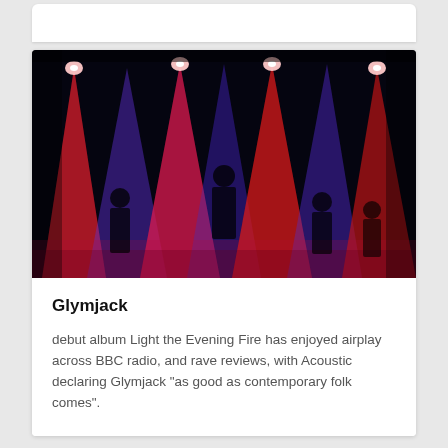[Figure (photo): Concert stage photo showing band performing under dramatic red and blue/purple stage lighting. Multiple spotlights beam downward creating vibrant red, pink and blue hues. Silhouettes of band members visible on stage against the colorful lights.]
Glymjack
debut album Light the Evening Fire has enjoyed airplay across BBC radio, and rave reviews, with Acoustic declaring Glymjack "as good as contemporary folk comes".